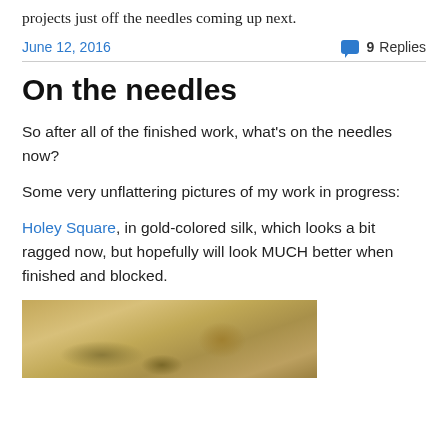projects just off the needles coming up next.
June 12, 2016   9 Replies
On the needles
So after all of the finished work, what's on the needles now?
Some very unflattering pictures of my work in progress:
Holey Square, in gold-colored silk, which looks a bit ragged now, but hopefully will look MUCH better when finished and blocked.
[Figure (photo): Photo of gold-colored silk knitting work in progress with a skein of yarn, appearing ragged and unblocked, on a wooden surface]